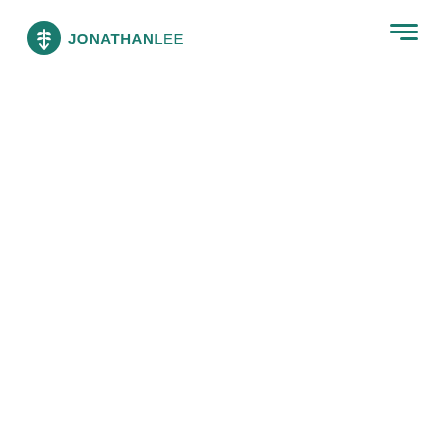JONATHAN LEE
[Figure (logo): Jonathan Lee recruitment logo: teal circular icon with stylized wheat/grain symbol, followed by bold text JONATHAN in teal and lighter weight LEE in teal]
[Figure (other): Hamburger menu icon: three teal horizontal lines, right-aligned, top line longest, bottom line shorter]